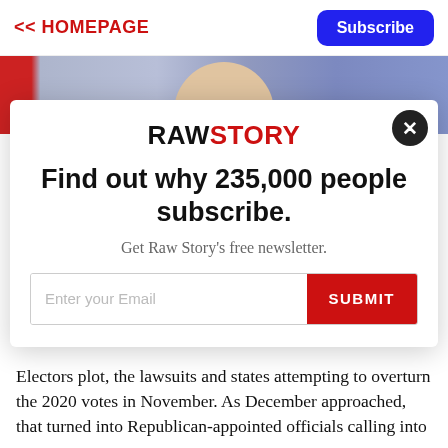<< HOMEPAGE
Subscribe
[Figure (photo): Photo strip showing a man's lower face/chin area against a blue-purple studio background with a red panel on the left.]
[Figure (screenshot): Raw Story newsletter subscription modal popup with logo, headline 'Find out why 235,000 people subscribe.', subtext 'Get Raw Story's free newsletter.', email input field, and SUBMIT button. Close button (X) in top right.]
Electors plot, the lawsuits and states attempting to overturn the 2020 votes in November. As December approached, that turned into Republican-appointed officials calling into